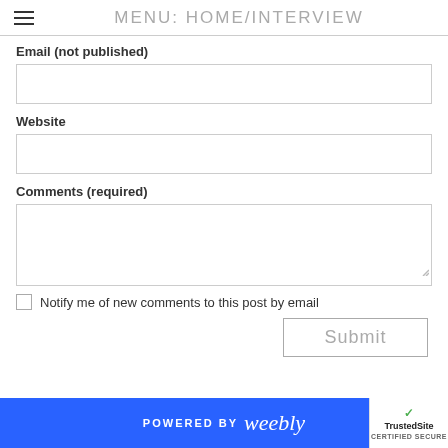MENU: HOME/INTERVIEW
Email (not published)
Website
Comments (required)
Notify me of new comments to this post by email
Submit
POWERED BY weebly | TrustedSite CERTIFIED SECURE